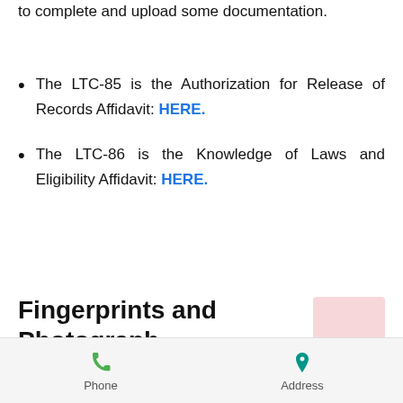When renewing online, you will need to complete and upload some documentation.
The LTC-85 is the Authorization for Release of Records Affidavit: HERE.
The LTC-86 is the Knowledge of Laws and Eligibility Affidavit: HERE.
Fingerprints and Photograph
The DPS will use your existing
Phone   Address